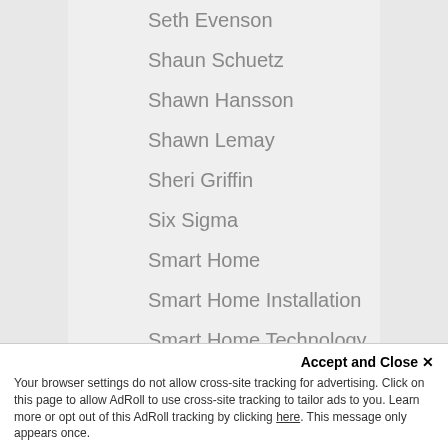Seth Evenson
Shaun Schuetz
Shawn Hansson
Shawn Lemay
Sheri Griffin
Six Sigma
Smart Home
Smart Home Installation
Smart Home Technology
Smart Systems
SmartHome Solutions
SmartTouchUSA
SnapAV_
Social Media
Social Media Marketing World
Accept and Close ✕
Your browser settings do not allow cross-site tracking for advertising. Click on this page to allow AdRoll to use cross-site tracking to tailor ads to you. Learn more or opt out of this AdRoll tracking by clicking here. This message only appears once.